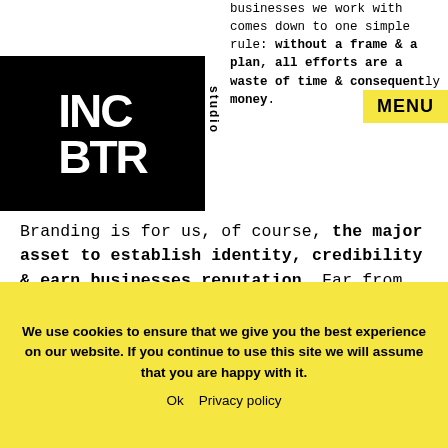[Figure (logo): INC BTR studio logo — black block with white text showing INC on top row and BTR on bottom row, with 'studio' rotated 90 degrees to the right]
businesses we work with comes down to one simple rule: without a frame & a plan, all efforts are a waste of time & consequently money.
MENU
Branding is for us, of course, the major asset to establish identity, credibility & earn businesses reputation. Far from being a final detail or touch, your branding is as essential to your business as your original great idea. It makes you stand out from your competition and it keeps you front-of-mind. You can learn more about our current brand strategy offers here. The solution we recommend and...
We use cookies to ensure that we give you the best experience on our website. If you continue to use this site we will assume that you are happy with it.

Ok   Privacy policy